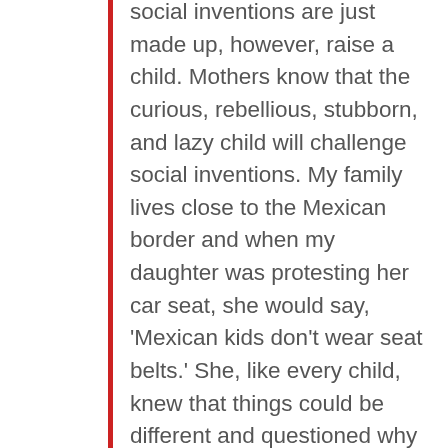social inventions are just made up, however, raise a child. Mothers know that the curious, rebellious, stubborn, and lazy child will challenge social inventions. My family lives close to the Mexican border and when my daughter was protesting her car seat, she would say, 'Mexican kids don't wear seat belts.' She, like every child, knew that things could be different and questioned why they were not. And of course, travel, news reports, novels, and history all remind us that our social inventions are not universal or even stable. What makes you